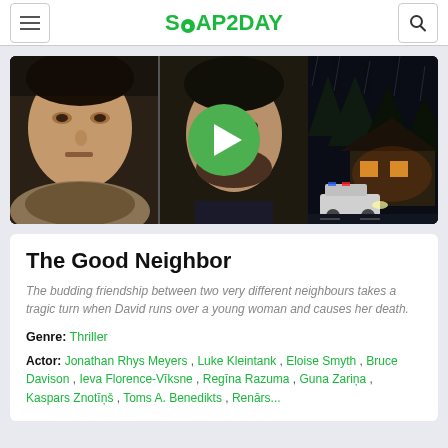SOAP2DAY
[Figure (screenshot): Movie thumbnail/banner for 'The Good Neighbor' showing two men's faces on the left in dark tones and a house with a police car at night on the right, with a green play button in the center]
The Good Neighbor
The budding friendship between two very different neighbours takes a tragic turn when David runs over a young woman and causes her death.
Genre: Thriller
Actor: Jonathan Rhys Meyers , Luke Kleintank , Eloise Smyth , Bruce Davison , Ieva Florence-Vīksne , Regīna Razuma , Guna Zariņa , Kaspars Znotīņš , Toms A. Benedikts , Renārs...